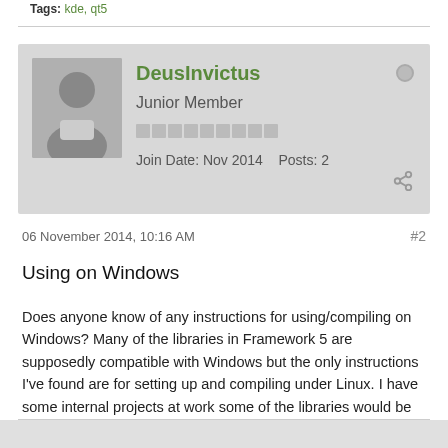Tags: kde, qt5
DeusInvictus
Junior Member
Join Date: Nov 2014    Posts: 2
06 November 2014, 10:16 AM
#2
Using on Windows
Does anyone know of any instructions for using/compiling on Windows? Many of the libraries in Framework 5 are supposedly compatible with Windows but the only instructions I've found are for setting up and compiling under Linux. I have some internal projects at work some of the libraries would be useful for, but it hasn't been important enough for me to have taken the time to try and figure it out on my own yet.